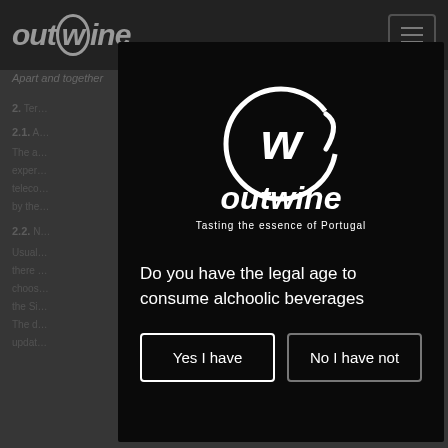[Figure (screenshot): Background website content showing outwine website header with logo and hamburger menu, tagline 'Apart and together', and partially visible body text with section numbers 2, 2.1, 2.2]
[Figure (logo): Outwine modal popup on dark black background. Shows the outwine logo (stylized 'w' inside an @ symbol circle) with text 'outwine' and subtitle 'Tasting the essence of Portugal']
Do you have the legal age to consume alchoolic beverages
Yes I have
No I have not